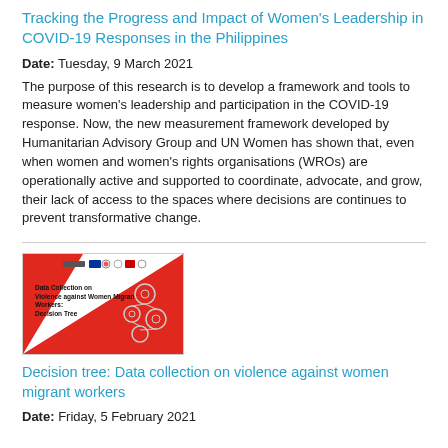Tracking the Progress and Impact of Women's Leadership in COVID-19 Responses in the Philippines
Date: Tuesday, 9 March 2021
The purpose of this research is to develop a framework and tools to measure women's leadership and participation in the COVID-19 response. Now, the new measurement framework developed by Humanitarian Advisory Group and UN Women has shown that, even when women and women's rights organisations (WROs) are operationally active and supported to coordinate, advocate, and grow, their lack of access to the spaces where decisions are continues to prevent transformative change.
[Figure (photo): Thumbnail image of a document titled 'Data Collection on Violence against Women Migrant Workers: Decision Tree'. Shows a red triangle design with organizational logos at top and network/circle diagram on the right.]
Decision tree: Data collection on violence against women migrant workers
Date: Friday, 5 February 2021